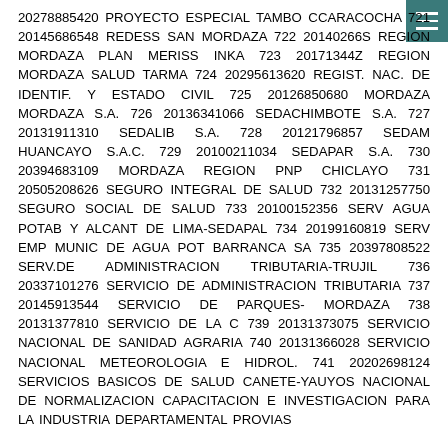20278885420 PROYECTO ESPECIAL TAMBO CCARACOCHA 721 20145686548 REDESS SAN MORDAZA 722 20140266S REGION MORDAZA PLAN MERISS INKA 723 20171344Z REGION MORDAZA SALUD TARMA 724 20295613620 REGIST. NAC. DE IDENTIF. Y ESTADO CIVIL 725 20126850680 MORDAZA MORDAZA S.A. 726 20136341066 SEDACHIMBOTE S.A. 727 20131911310 SEDALIB S.A. 728 20121796857 SEDAM HUANCAYO S.A.C. 729 20100211034 SEDAPAR S.A. 730 20394683109 MORDAZA REGION PNP CHICLAYO 731 20505208626 SEGURO INTEGRAL DE SALUD 732 20131257750 SEGURO SOCIAL DE SALUD 733 20100152356 SERV AGUA POTAB Y ALCANT DE LIMA-SEDAPAL 734 20199160819 SERV EMP MUNIC DE AGUA POT BARRANCA SA 735 20397808522 SERV.DE ADMINISTRACION TRIBUTARIA-TRUJIL 736 20337101276 SERVICIO DE ADMINISTRACION TRIBUTARIA 737 20145913544 SERVICIO DE PARQUES- MORDAZA 738 20131377810 SERVICIO DE LA C 739 20131373075 SERVICIO NACIONAL DE SANIDAD AGRARIA 740 20131366028 SERVICIO NACIONAL METEOROLOGIA E HIDROL. 741 20202698124 SERVICIOS BASICOS DE SALUD CANETE-YAUYOS NACIONAL DE NORMALIZACION CAPACITACION E INVESTIGACION PARA LA INDUSTRIA DEPARTAMENTAL PROVIAS